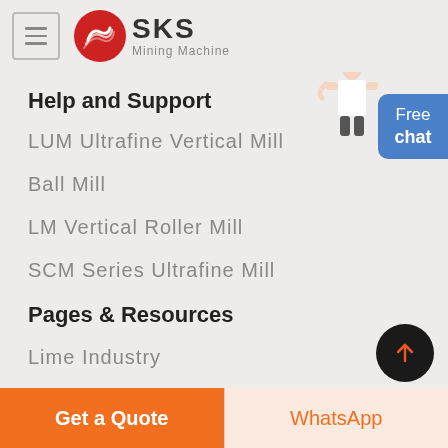SKS Mining Machine
Help and Support
LUM Ultrafine Vertical Mill
Ball Mill
LM Vertical Roller Mill
SCM Series Ultrafine Mill
Pages & Resources
Lime Industry
[Figure (illustration): Customer service representative figure and Free chat button]
Get a Quote
WhatsApp